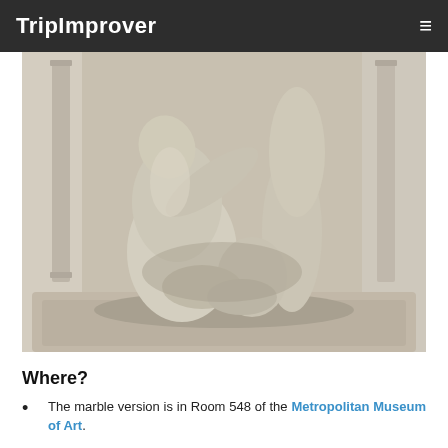TripImprover
[Figure (photo): A marble sculpture showing multiple human figures intertwined, displayed in a museum gallery with classical columns in the background. The central figure is kneeling and looking upward while grasping other figures around it.]
Where?
The marble version is in Room 548 of the Metropolitan Museum of Art.